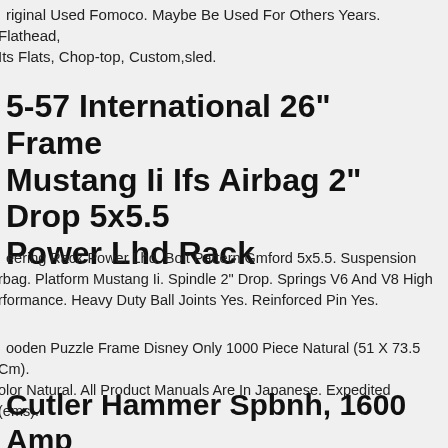riginal Used Fomoco. Maybe Be Used For Others Years. Flathead, Its Flats, Chop-top, Custom,sled.
5-57 International 26" Frame Mustang Ii Ifs Airbag 2" Drop 5x5.5 Power Lhd Rack
eering Rack Power Lhd. Bolt Pattern Gmford 5x5.5. Suspension rbag. Platform Mustang Ii. Spindle 2" Drop. Springs V6 And V8 High rformance. Heavy Duty Ball Joints Yes. Reinforced Pin Yes.
ooden Puzzle Frame Disney Only 1000 Piece Natural (51 X 73.5 Cm). olor Natural. All Product Manuals Are In Japanese. Expedited (ems).
Cutler Hammer Spbnh, 1600 Amp Frame 600v, 3pole